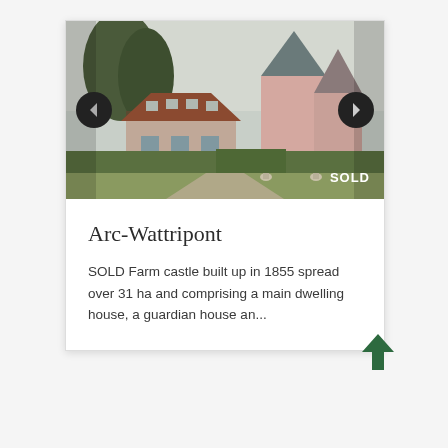[Figure (photo): Photograph of a French farm castle/chateau in Arc-Wattripont with pink walls, pointed towers, and a brick-roofed outbuilding. A 'SOLD' watermark appears in the lower right corner. Navigation arrows are visible on both sides.]
Arc-Wattripont
SOLD Farm castle built up in 1855 spread over 31 ha and comprising a main dwelling house, a guardian house an...